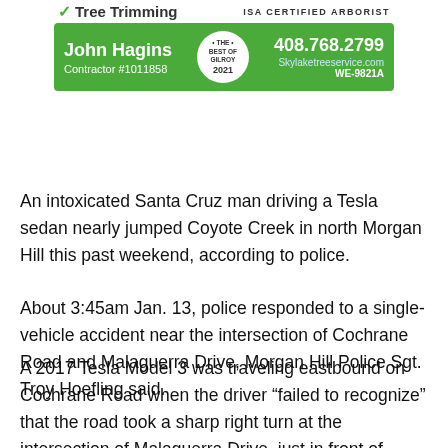[Figure (infographic): Advertisement for Skylake Tree Service by John Hagins. Green banner with name, phone number 408.768.2799, website Skylaketreeservice.com, Contractor #1011858, WE-9821A, Best of Gilroy 2021 badge, ISA Certified Arborist text, Tree Trimming service listed with green checkmark.]
An intoxicated Santa Cruz man driving a Tesla sedan nearly jumped Coyote Creek in north Morgan Hill this past weekend, according to police.
About 3:45am Jan. 13, police responded to a single-vehicle accident near the intersection of Cochrane Road and Malaguerra Drive, Morgan Hill Police Sgt. Troy Hoefling said.
A 2017 Tesla Model 3 was traveling eastbound on Cochrane Road when the driver “failed to recognize” that the road took a sharp right turn at the intersection of Malaguerra Drive, just in front of Coyote Creek, Hoefling said.